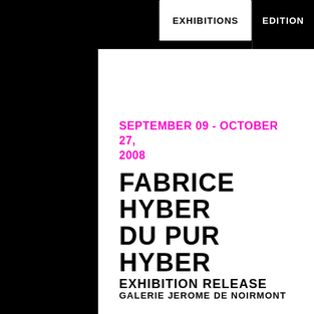EXHIBITIONS  EDITION
SEPTEMBER 09 - OCTOBER 27, 2008
FABRICE HYBER
DU PUR HYBER
GALERIE JEROME DE NOIRMONT
EXHIBITION RELEASE